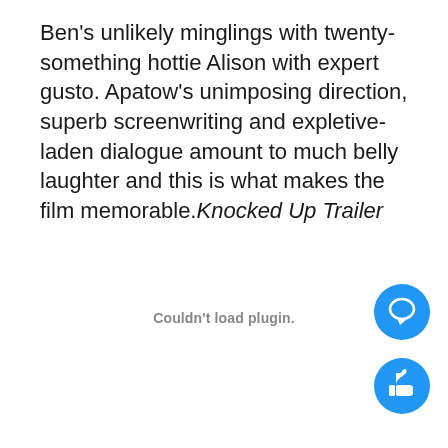Ben's unlikely minglings with twenty-something hottie Alison with expert gusto. Apatow's unimposing direction, superb screenwriting and expletive-laden dialogue amount to much belly laughter and this is what makes the film memorable.Knocked Up Trailer
Couldn't load plugin.
[Figure (other): Blue circular comment/chat button icon]
[Figure (other): Blue circular thumbs-up like button icon]